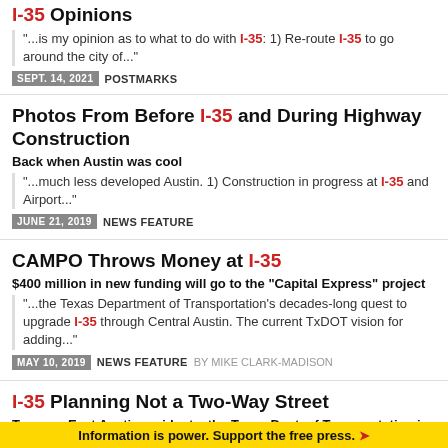I-35 Opinions
"...is my opinion as to what to do with I-35: 1) Re-route I-35 to go around the city of..."
SEPT. 14, 2021  POSTMARKS
Photos From Before I-35 and During Highway Construction
Back when Austin was cool
"...much less developed Austin. 1) Construction in progress at I-35 and Airport..."
JUNE 21, 2019  NEWS FEATURE
CAMPO Throws Money at I-35
$400 million in new funding will go to the "Capital Express" project
"...the Texas Department of Transportation's decades-long quest to upgrade I-35 through Central Austin. The current TxDOT vision for adding..."
MAY 10, 2019  NEWS FEATURE BY MIKE CLARK-MADISON
I-35 Planning Not a Two-Way Street
To some East Austin residents, the Texas Dept. of Transportation is an Orwellian evil empire-like state agency that will pave over your house if not watched closely; despite the agency's best efforts to put
Information is power. Support the free press.